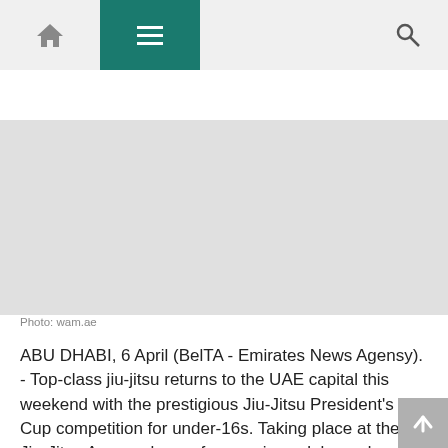TIMELINE
[Figure (photo): Blank/empty photo area representing a news article image]
Photo: wam.ae
ABU DHABI, 6 April (BelTA - Emirates News Agensy). - Top-class jiu-jitsu returns to the UAE capital this weekend with the prestigious Jiu-Jitsu President's Cup competition for under-16s. Taking place at the Jiu-Jitsu Arena, players from various clubs and academies are expected to take to the mats on 8th-9th April across numerous weight categories.
Organised by the UAE Jiu-Jitsu Federation (UAEJJF), the governing body for the sport in the country, the